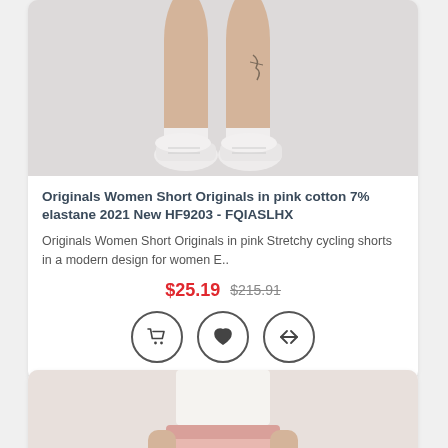[Figure (photo): Close-up photo of woman's legs wearing white sneakers and pink shorts/cycling shorts, with tattoos visible on leg, light grey background]
Originals Women Short Originals in pink cotton 7% elastane 2021 New HF9203 - FQIASLHX
Originals Women Short Originals in pink Stretchy cycling shorts in a modern design for women E..
$25.19  $215.91
[Figure (photo): Photo of woman wearing white crop top and pink casual shorts, standing, with hand in pocket]